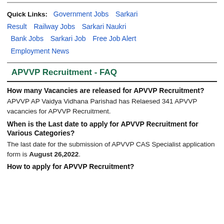Quick Links: Government Jobs  Sarkari Result  Railway Jobs  Sarkari Naukri  Bank Jobs  Sarkari Job  Free Job Alert  Employment News
APVVP Recruitment - FAQ
How many Vacancies are released for APVVP Recruitment?
APVVP AP Vaidya Vidhana Parishad has Relaesed 341 APVVP vacancies for APVVP Recruitment.
When is the Last date to apply for APVVP Recruitment for Various Categories?
The last date for the submission of APVVP CAS Specialist application form is August 26,2022.
How to apply for APVVP Recruitment?